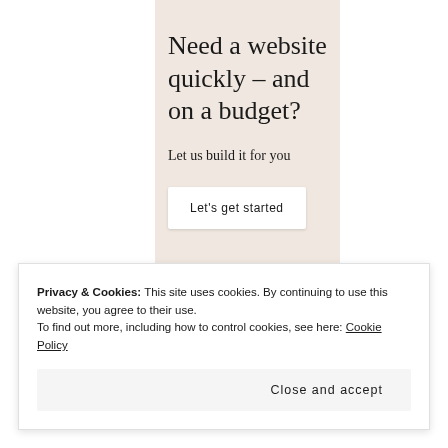[Figure (other): Advertisement panel with beige background. Large serif heading reads 'Need a website quickly – and on a budget?' followed by subtext 'Let us build it for you' and a white button 'Let's get started'.]
Privacy & Cookies: This site uses cookies. By continuing to use this website, you agree to their use.
To find out more, including how to control cookies, see here: Cookie Policy
Close and accept